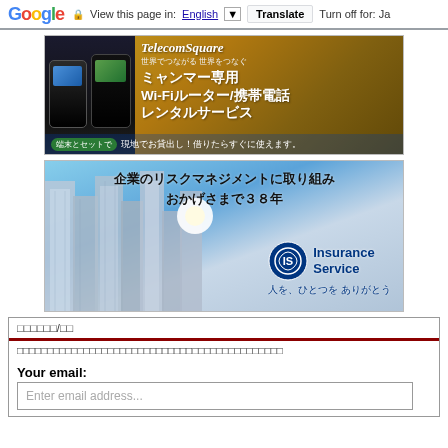Google — View this page in: English | Translate | Turn off for: Ja
[Figure (illustration): TelecomSquare advertisement banner for Myanmar Wi-Fi router and mobile phone rental service, showing two mobile phones and Japanese text]
[Figure (illustration): Insurance Service company advertisement banner showing skyscrapers from below with blue sky and Japanese text about 38 years of corporate risk management, with IS Insurance Service logo]
□□□□□□/□□
□□□□□□□□□□□□□□□□□□□□□□□□□□□□□□□□□□□□□□□□□□□□
Your email:
Enter email address...